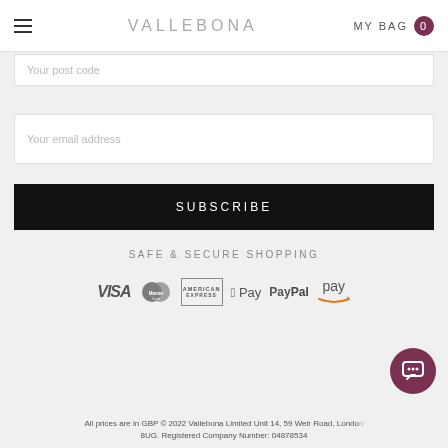VALLEBONA  MY BAG 0
Your post code
Your email address
SUBSCRIBE
SAFE & SECURE SHOPPING
[Figure (logo): Payment method logos: VISA, MasterCard, American Express, Apple Pay, PayPal, Amazon Pay]
All prices are in GBP © 2022 Vallebona Limited Unit 14, 59 Weir Road, London 8UG. Registered Company Number: 04878534